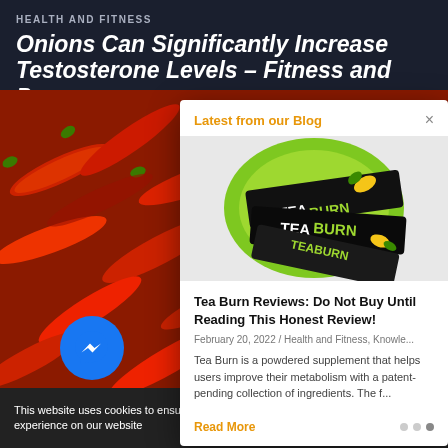HEALTH AND FITNESS
Onions Can Significantly Increase Testosterone Levels – Fitness and Power
by Creatives bsf T...
[Figure (photo): Background photo of red chili peppers in a pile]
[Figure (screenshot): Blog popup modal titled 'Latest from our Blog' showing Tea Burn product image with black tea powder stick packets on green circle background, article title 'Tea Burn Reviews: Do Not Buy Until Reading This Honest Review!', date February 20, 2022 / Health and Fitness, Knowle..., excerpt text, Read More link, and navigation dots]
This website uses cookies to ensure you get the best experience on our website
Got it!